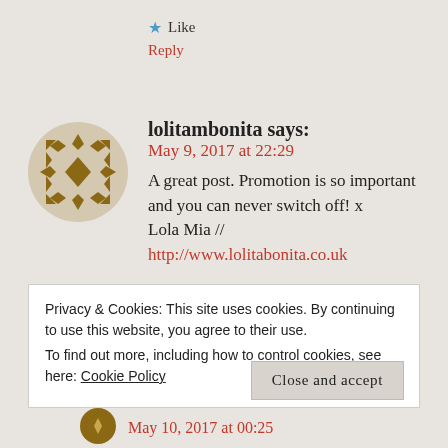★ Like
Reply
lolitambonita says:
May 9, 2017 at 22:29
A great post. Promotion is so important and you can never switch off! x
Lola Mia //
http://www.lolitabonita.co.uk
Privacy & Cookies: This site uses cookies. By continuing to use this website, you agree to their use.
To find out more, including how to control cookies, see here: Cookie Policy
Close and accept
May 10, 2017 at 00:25